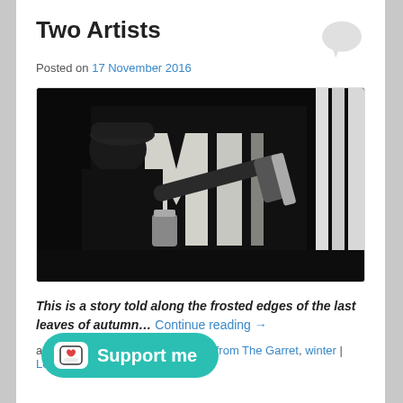Two Artists
Posted on 17 November 2016
[Figure (photo): A person wearing a dark cap and clothing painting large black and white letters on a wall using a roller, photographed from the side in close-up.]
This is a story told along the frosted edges of the last leaves of autumn… Continue reading →
Tagged art, peppercorn story, Tales from The Garret, winter | Leave a Reply